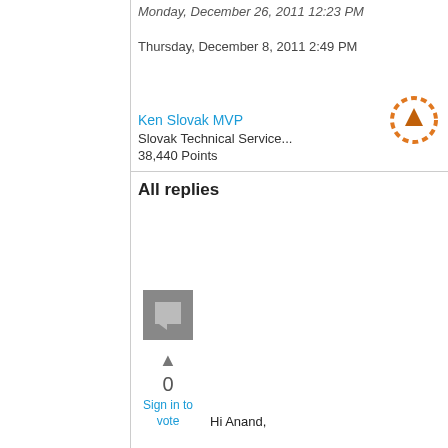Monday, December 26, 2011 12:23 PM
Thursday, December 8, 2011 2:49 PM
Ken Slovak MVP
Slovak Technical Service...
38,440 Points
All replies
[Figure (other): Gray square icon with a comment/pin symbol]
0
Sign in to vote
Hi Anand,